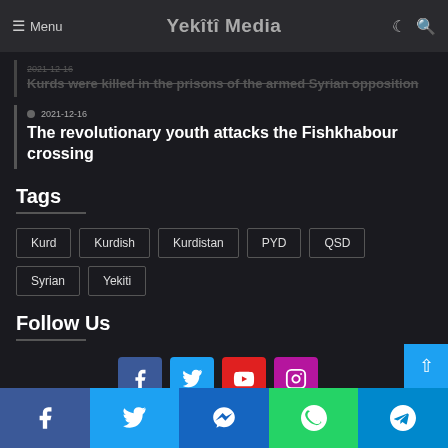Menu | Yekîtî Media
2021-12-16 (struck through) — Kurds were killed in the prisons of the armed Syrian opposition
2021-12-16 — The revolutionary youth attacks the Fishkhabour crossing
Tags
Kurd
Kurdish
Kurdistan
PYD
QSD
Syrian
Yekiti
Follow Us
[Figure (infographic): Social media icons: Facebook, Twitter, YouTube, Instagram]
[Figure (infographic): Bottom share bar: Facebook, Twitter, Messenger, WhatsApp, Telegram]